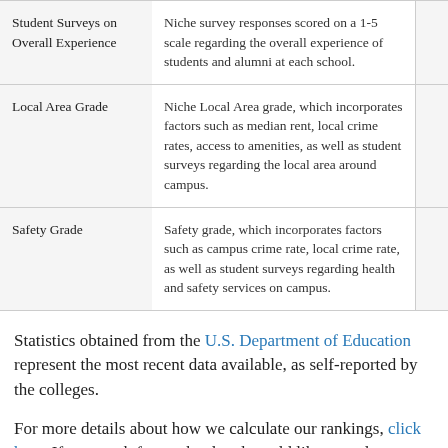| Factor | Description |  |
| --- | --- | --- |
| Student Surveys on Overall Experience | Niche survey responses scored on a 1-5 scale regarding the overall experience of students and alumni at each school. |  |
| Local Area Grade | Niche Local Area grade, which incorporates factors such as median rent, local crime rates, access to amenities, as well as student surveys regarding the local area around campus. |  |
| Safety Grade | Safety grade, which incorporates factors such as campus crime rate, local crime rate, as well as student surveys regarding health and safety services on campus. |  |
Statistics obtained from the U.S. Department of Education represent the most recent data available, as self-reported by the colleges.
For more details about how we calculate our rankings, click here. If you work for a school and would like to update your data, please claim your school.